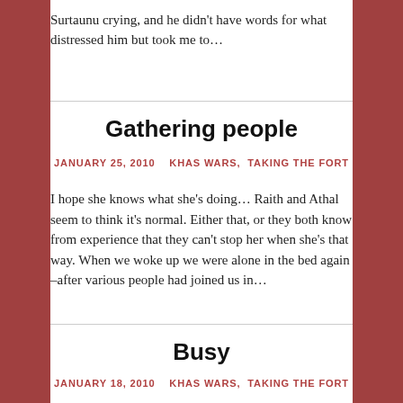Surtaunu crying, and he didn’t have words for what distressed him but took me to…
Gathering people
JANUARY 25, 2010   KHAS WARS,  TAKING THE FORT
I hope she knows what she’s doing… Raith and Athal seem to think it’s normal. Either that, or they both know from experience that they can’t stop her when she’s that way. When we woke up we were alone in the bed again –after various people had joined us in…
Busy
JANUARY 18, 2010   KHAS WARS,  TAKING THE FORT